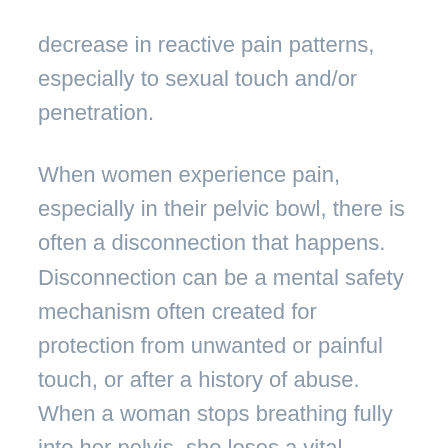decrease in reactive pain patterns, especially to sexual touch and/or penetration.
When women experience pain, especially in their pelvic bowl, there is often a disconnection that happens. Disconnection can be a mental safety mechanism often created for protection from unwanted or painful touch, or after a history of abuse. When a woman stops breathing fully into her pelvis, she loses a vital connection. Holistic Pelvic Care ™ helps address this disconnection by breath work, guided imagery, and myo-fascial work. We will gently support you and help you stay grounded and